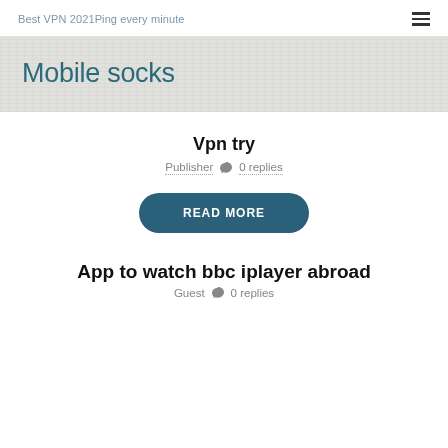Best VPN 2021Ping every minute
Mobile socks
Vpn try
Publisher  0 replies
READ MORE
App to watch bbc iplayer abroad
Guest  0 replies